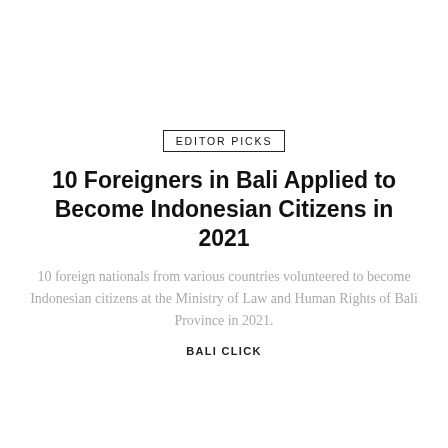EDITOR PICKS
10 Foreigners in Bali Applied to Become Indonesian Citizens in 2021
10 foreign nationals from various countries volunteered to become Indonesian citizens at the Ministry of Law and Human Rights of Bali Province in 2021.
BALI CLICK